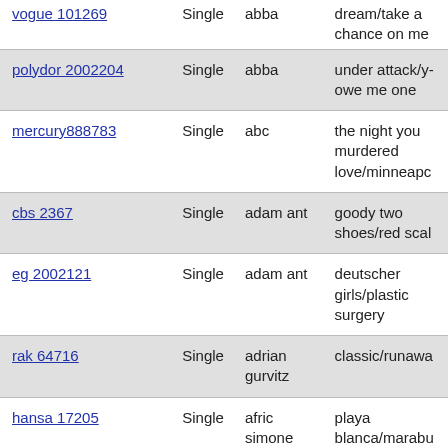| catalog | type | artist | title |
| --- | --- | --- | --- |
| vogue 101269 | Single | abba | dream/take a chance on me |
| polydor 2002204 | Single | abba | under attack/you owe me one |
| mercury888783 | Single | abc | the night you murdered love/minneapo... |
| cbs 2367 | Single | adam ant | goody two shoes/red sca... |
| eg 2002121 | Single | adam ant | deutscher girls/plastic surgery |
| rak 64716 | Single | adrian gurvitz | classic/runawa... |
| hansa 17205 | Single | afric simone | playa blanca/marabu... |
| wb 926663 | Single | aha | hunting high and low/the blue sky(demo vers... |
| 20th century 2260 | Single | ahmad jamal | pablo sierra/m... |